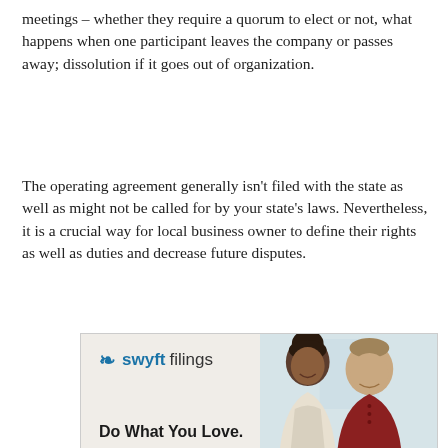meetings – whether they require a quorum to elect or not, what happens when one participant leaves the company or passes away; dissolution if it goes out of organization.
The operating agreement generally isn't filed with the state as well as might not be called for by your state's laws. Nevertheless, it is a crucial way for local business owner to define their rights as well as duties and decrease future disputes.
[Figure (illustration): Advertisement for Swyft Filings showing the brand logo with a blue 'S' icon, the text 'swyftfilings', two smiling business people (a woman and a man), and the tagline 'Do What You Love.']